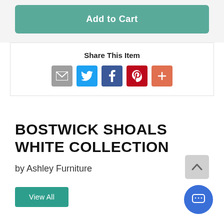Add to Cart
Share This Item
[Figure (infographic): Social share icons: Email (grey), Twitter (blue), Facebook (dark blue), Pinterest (red), More (orange)]
BOSTWICK SHOALS WHITE COLLECTION
by Ashley Furniture
View All